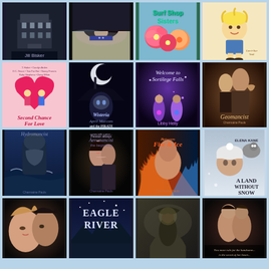[Figure (illustration): Grid of book covers arranged in 4 rows of 4 books each. Row 1: dark building cover by Jill Bisker, woman in bikini/black hair, Surf Shop Sisters with tropical flowers, cartoon illustration by Lorri-Sue Vodi. Row 2: Second Chance For Love pink anthology cover, Wisteria and the Pirate Werewolf by April Marcom (blue hooded figure, moon), Welcome to Sortilege Falls by Libby Heily (purple fantasy), Geomancist by Charmaine Pauls. Row 3: Hydromancist by Charmaine Pauls (ocean), Aeromancist by Charmaine Pauls (dark romantic), Between Fire and Ice by Charmaine Pauls (flames), A Land Without Snow by Elena Kane (blonde woman in snowy setting). Row 4: romantic couple, Eagle River (large title), artistic fantasy cover, romantic cover with text.]